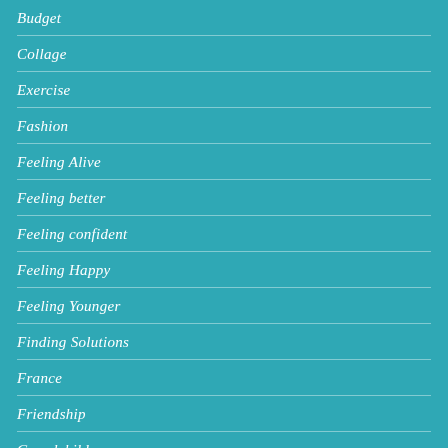Budget
Collage
Exercise
Fashion
Feeling Alive
Feeling better
Feeling confident
Feeling Happy
Feeling Younger
Finding Solutions
France
Friendship
Grandchildren